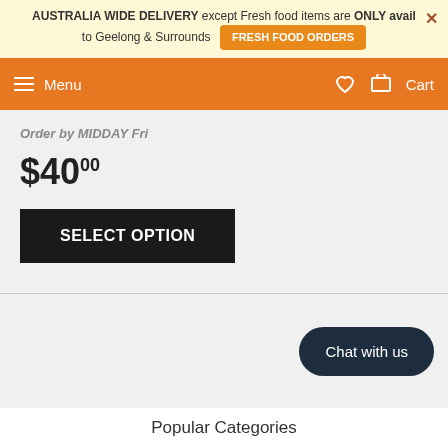AUSTRALIA WIDE DELIVERY except Fresh food items are ONLY avail to Geelong & Surrounds FRESH FOOD ORDERS
Menu  Cart
Order by MIDDAY Fri
$40.00
SELECT OPTION
Chat with us
Popular Categories